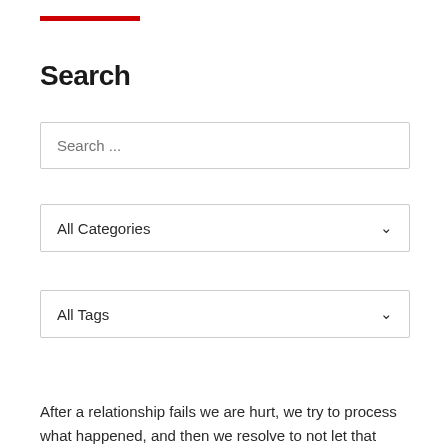Search
Search ...
All Categories
All Tags
SUBMIT
After a relationship fails we are hurt, we try to process what happened, and then we resolve to not let that